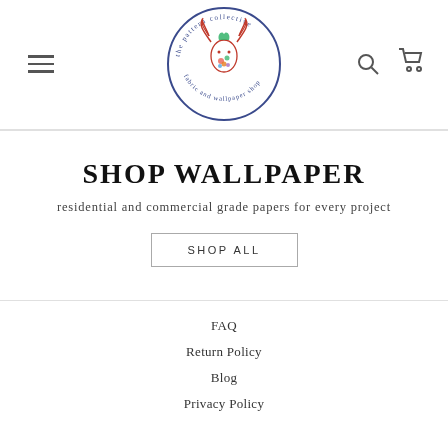The Pattern Collective — fabric and wallpaper shop (logo)
SHOP WALLPAPER
residential and commercial grade papers for every project
SHOP ALL
FAQ
Return Policy
Blog
Privacy Policy